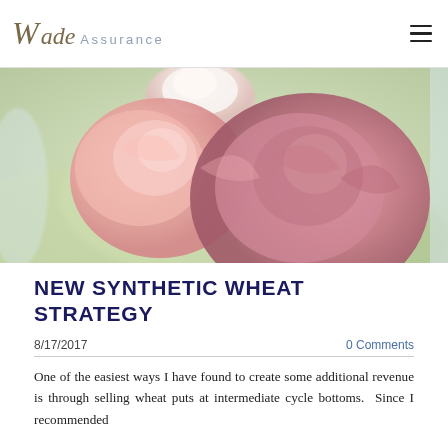Wade Assurance
[Figure (photo): Close-up photo of pink and white roses with a soft blurred green background]
NEW SYNTHETIC WHEAT STRATEGY
8/17/2017
0 Comments
One of the easiest ways I have found to create some additional revenue is through selling wheat puts at intermediate cycle bottoms.  Since I recommended